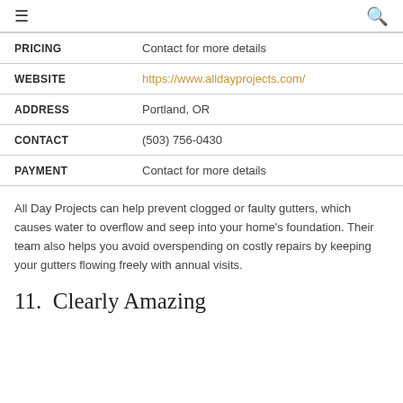≡  🔍
| PRICING | Contact for more details |
| WEBSITE | https://www.alldayprojects.com/ |
| ADDRESS | Portland, OR |
| CONTACT | (503) 756-0430 |
| PAYMENT | Contact for more details |
All Day Projects can help prevent clogged or faulty gutters, which causes water to overflow and seep into your home's foundation. Their team also helps you avoid overspending on costly repairs by keeping your gutters flowing freely with annual visits.
11.  Clearly Amazing